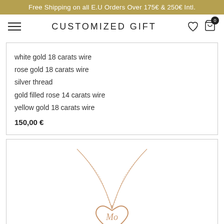Free Shipping on all E.U Orders Over 175€ & 250€ Intl.
CUSTOMIZED GIFT
white gold 18 carats wire
rose gold 18 carats wire
silver thread
gold filled rose 14 carats wire
yellow gold 18 carats wire
150,00 €
[Figure (photo): A rose gold necklace with a thin chain and a heart-shaped pendant featuring a scripted initial inside the heart outline]